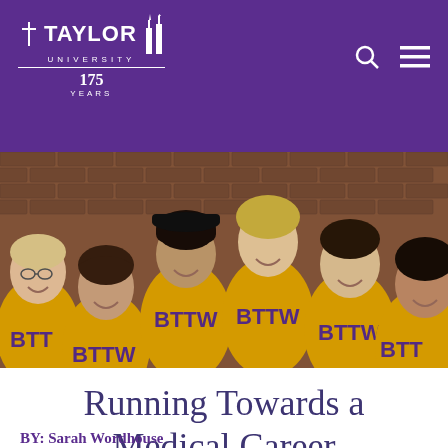Taylor University 175 Years
[Figure (photo): Six young men wearing matching gold BTTW sweatshirts smiling in front of a brick wall]
Running Towards a Medical Career
BY: Sarah Wordhouse